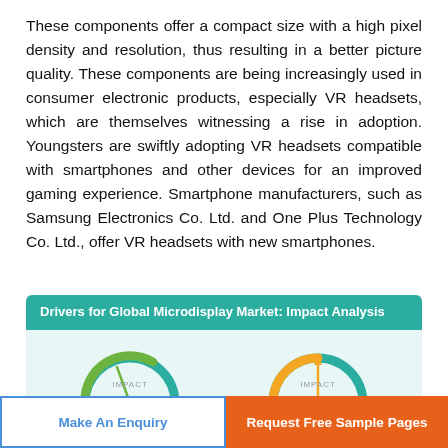These components offer a compact size with a high pixel density and resolution, thus resulting in a better picture quality. These components are being increasingly used in consumer electronic products, especially VR headsets, which are themselves witnessing a rise in adoption. Youngsters are swiftly adopting VR headsets compatible with smartphones and other devices for an improved gaming experience. Smartphone manufacturers, such as Samsung Electronics Co. Ltd. and One Plus Technology Co. Ltd., offer VR headsets with new smartphones.
[Figure (infographic): Drivers for Global Microdisplay Market: Impact Analysis. Two gauge/speedometer indicators: LEFT - IMPACT HIGH (Growing adoption of HUD-integrated ADAS). RIGHT - IMPACT MEDIUM (Increasing number of NTE applications).]
Make An Enquiry
Request Free Sample Pages